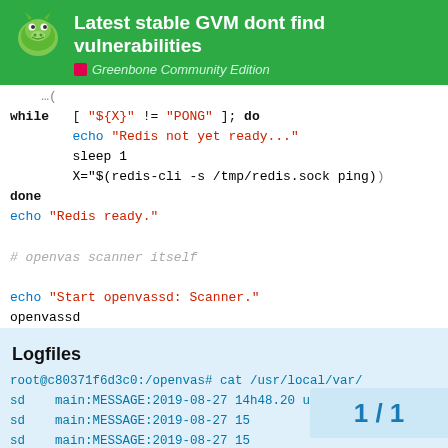Latest stable GVM dont find vulnerabilities — Greenbone Community Edition
while [ "${X}" != "PONG" ]; do
    echo "Redis not yet ready..."
    sleep 1
    X="$(redis-cli -s /tmp/redis.sock ping)"
done
echo "Redis ready."

# openvas scanner itself

echo "Start openvassd: Scanner."
openvassd
Logfiles
root@c80371f6d3c0:/openvas# cat /usr/local/var/
sd    main:MESSAGE:2019-08-27 14h48.20 utc:1453:
sd    main:MESSAGE:2019-08-27 15
sd    main:MESSAGE:2019-08-27 15
1 / 1